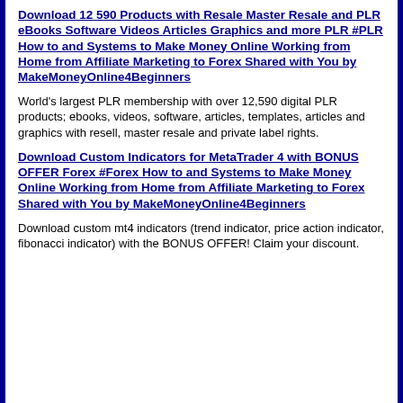Download 12 590 Products with Resale Master Resale and PLR eBooks Software Videos Articles Graphics and more PLR #PLR How to and Systems to Make Money Online Working from Home from Affiliate Marketing to Forex Shared with You by MakeMoneyOnline4Beginners
World's largest PLR membership with over 12,590 digital PLR products; ebooks, videos, software, articles, templates, articles and graphics with resell, master resale and private label rights.
Download Custom Indicators for MetaTrader 4 with BONUS OFFER Forex #Forex How to and Systems to Make Money Online Working from Home from Affiliate Marketing to Forex Shared with You by MakeMoneyOnline4Beginners
Download custom mt4 indicators (trend indicator, price action indicator, fibonacci indicator) with the BONUS OFFER! Claim your discount.